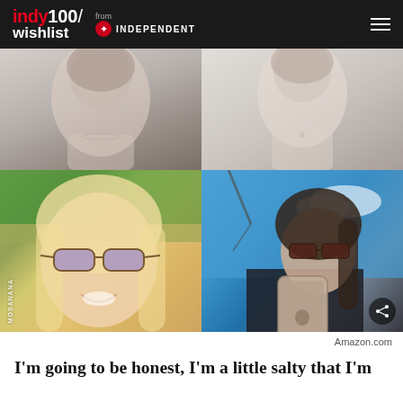indy100/wishlist from INDEPENDENT
[Figure (photo): Four-panel photo grid showing women wearing sunglasses. Top-left: close-up woman, faded tones. Top-right: woman in white, faded tones. Bottom-left: smiling blonde woman with large butterfly sunglasses outdoors with green trees, MOSANANA watermark. Bottom-right: brunette woman taking mirror selfie with iPhone outdoors under blue sky, share icon.]
Amazon.com
I'm going to be honest, I'm a little salty that I'm